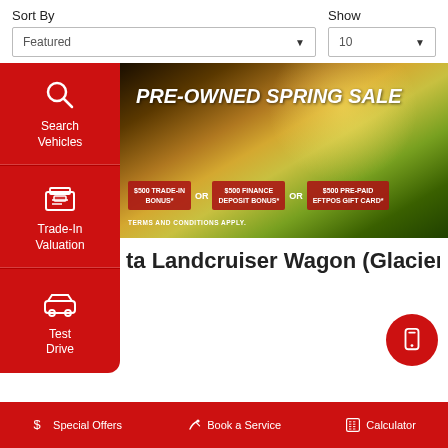Sort By
Featured
Show
10
[Figure (screenshot): PRE-OWNED SPRING SALE banner with green grass background. Offers: $500 TRADE-IN BONUS* OR $500 FINANCE DEPOSIT BONUS* OR $500 PRE-PAID EFTPOS GIFT CARD*. TERMS AND CONDITIONS APPLY.]
Search Vehicles
Trade-In Valuation
Test Drive
ta Landcruiser Wagon (Glacier ...
Special Offers
Book a Service
Calculator